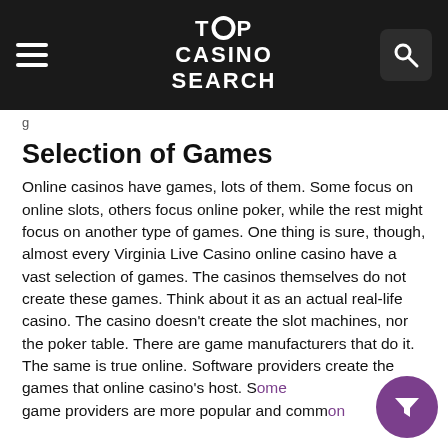TOP CASINO SEARCH
g
Selection of Games
Online casinos have games, lots of them. Some focus on online slots, others focus online poker, while the rest might focus on another type of games. One thing is sure, though, almost every Virginia Live Casino online casino have a vast selection of games. The casinos themselves do not create these games. Think about it as an actual real-life casino. The casino doesn't create the slot machines, nor the poker table. There are game manufacturers that do it.
The same is true online. Software providers create the games that online casino's host. Some game providers are more popular and common than others. On our website you can find...